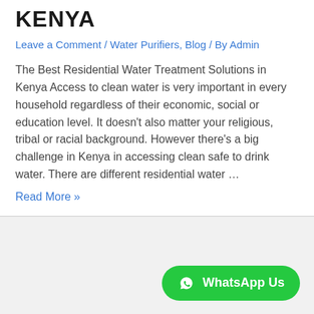KENYA
Leave a Comment / Water Purifiers, Blog / By Admin
The Best Residential Water Treatment Solutions in Kenya Access to clean water is very important in every household regardless of their economic, social or education level. It doesn't also matter your religious, tribal or racial background. However there's a big challenge in Kenya in accessing clean safe to drink water. There are different residential water …
Read More »
[Figure (other): WhatsApp Us button with green background and WhatsApp icon]